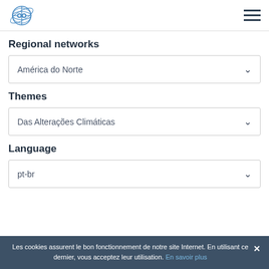WMO logo and navigation menu
Regional networks
América do Norte
Themes
Das Alterações Climáticas
Language
pt-br
Les cookies assurent le bon fonctionnement de notre site Internet. En utilisant ce dernier, vous acceptez leur utilisation. En savoir plus